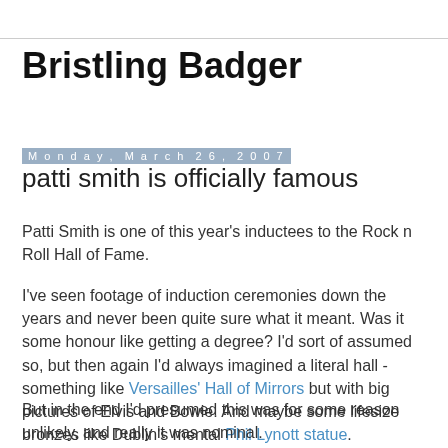Bristling Badger
Monday, March 26, 2007
patti smith is officially famous
Patti Smith is one of this year's inductees to the Rock n Roll Hall of Fame.
I've seen footage of induction ceremonies down the years and never been quite sure what it meant. Was it some honour like getting a degree? I'd sort of assumed so, but then again I'd always imagined a literal hall - something like Versailles' Hall of Mirrors but with big pictures of Elvis and Bowie. And maybe some lifesize bronzes like Dublin's mental Phil Lynott statue.
But in the end I'd presumed this was for some reason unlikely, and really it was nominal.